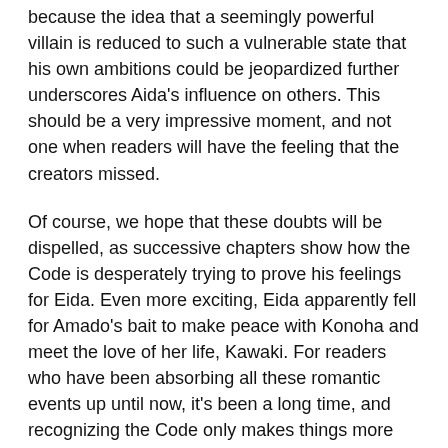because the idea that a seemingly powerful villain is reduced to such a vulnerable state that his own ambitions could be jeopardized further underscores Aida's influence on others. This should be a very impressive moment, and not one when readers will have the feeling that the creators missed.
Of course, we hope that these doubts will be dispelled, as successive chapters show how the Code is desperately trying to prove his feelings for Eida. Even more exciting, Eida apparently fell for Amado's bait to make peace with Konoha and meet the love of her life, Kawaki. For readers who have been absorbing all these romantic events up until now, it's been a long time, and recognizing the Code only makes things more exciting and challenging. Boruto's romance isn't perfect, but it's a unique and compelling aspect of his story that we hope will improve over time.